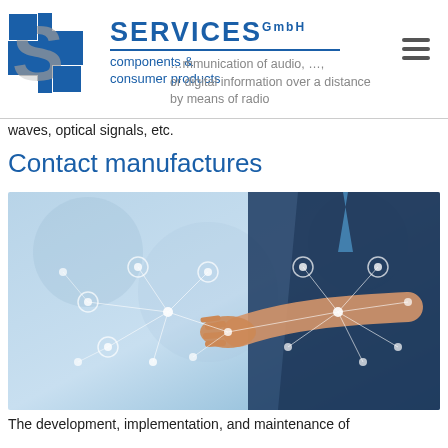[Figure (logo): ISI Services GmbH logo with blue square S letter mark and blue text 'SERVICES GmbH / components & consumer products']
…mmunication of audio, …, or digital information over a distance by means of radio
waves, optical signals, etc.
Contact manufactures
[Figure (photo): Businessman in suit pointing at a network of connected icons representing digital communication and connectivity, blue-toned background]
The development, implementation, and maintenance of